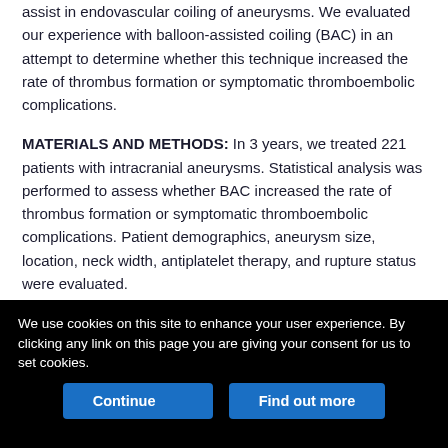assist in endovascular coiling of aneurysms. We evaluated our experience with balloon-assisted coiling (BAC) in an attempt to determine whether this technique increased the rate of thrombus formation or symptomatic thromboembolic complications.
MATERIALS AND METHODS: In 3 years, we treated 221 patients with intracranial aneurysms. Statistical analysis was performed to assess whether BAC increased the rate of thrombus formation or symptomatic thromboembolic complications. Patient demographics, aneurysm size, location, neck width, antiplatelet therapy, and rupture status were evaluated.
RESULTS: We detected no statistically significant difference in rates of thrombus formation (14% versus 9% with and without BAC,
We use cookies on this site to enhance your user experience. By clicking any link on this page you are giving your consent for us to set cookies.